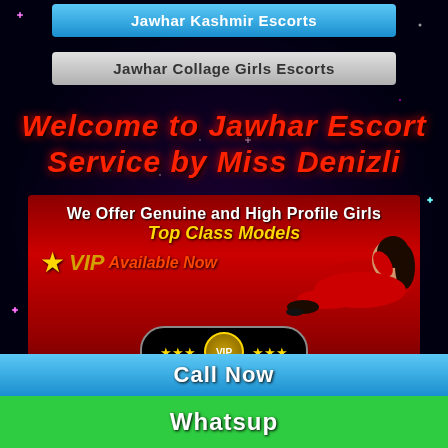Jawhar Kashmir Escorts
Jawhar Collage Girls Escorts
Welcome to Jawhar Escort Service by Miss Denizli
[Figure (infographic): Promotional banner with woman in red dress lying down, text: We Offer Genuine and High Profile Girls, Top Class Models, VIP Available Now, with VIP badge at bottom]
Jawhar Escort - Jawhar is the capital of India's Maharashtra state. It brings out the imperial family
Call Now
Whatsup